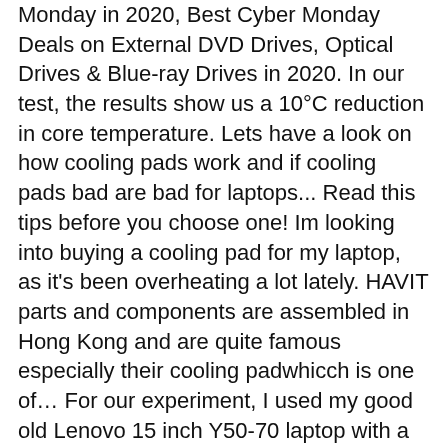Monday in 2020, Best Cyber Monday Deals on External DVD Drives, Optical Drives & Blue-ray Drives in 2020. In our test, the results show us a 10°C reduction in core temperature. Lets have a look on how cooling pads work and if cooling pads bad are bad for laptops... Read this tips before you choose one! Im looking into buying a cooling pad for my laptop, as it's been overheating a lot lately. HAVIT parts and components are assembled in Hong Kong and are quite famous especially their cooling padwhicch is one of… For our experiment, I used my good old Lenovo 15 inch Y50-70 laptop with a Chinese MECO Laptop cooler that I had picked up a while back. you can then put them in the freezer and they work … It would also make sense to see how much of a difference in noise the pad would make without interference from the laptop fan. THANK YOU And lower temperatures translate to better performance and less throttling. One more thing to add here is that the amount of temperature reduction in laptops varies from laptop to laptop. This thread is archived . eval(ez_write_tag([[336,280],'reviewsgarage_com-